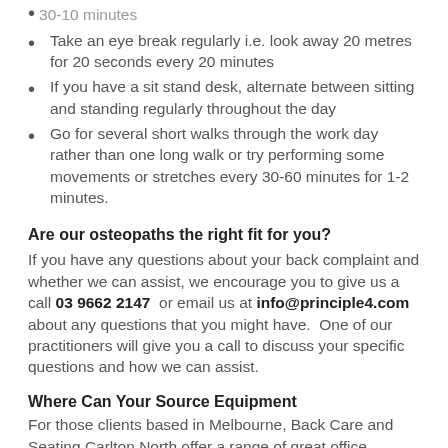Take an eye break regularly i.e. look away 20 metres for 20 seconds every 20 minutes
If you have a sit stand desk, alternate between sitting and standing regularly throughout the day
Go for several short walks through the work day rather than one long walk or try performing some movements or stretches every 30-60 minutes for 1-2 minutes.
Are our osteopaths the right fit for you?
If you have any questions about your back complaint and whether we can assist, we encourage you to give us a call 03 9662 2147 or email us at info@principle4.com about any questions that you might have. One of our practitioners will give you a call to discuss your specific questions and how we can assist.
Where Can Your Source Equipment
For those clients based in Melbourne, Back Care and Seating Carlton North offer a range of great office